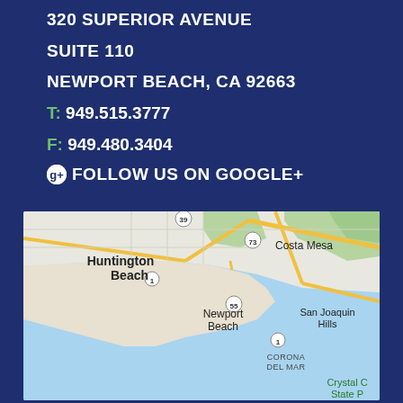320 SUPERIOR AVENUE
SUITE 110
NEWPORT BEACH, CA 92663
T: 949.515.3777
F: 949.480.3404
FOLLOW US ON GOOGLE+
[Figure (map): Google Maps view showing Huntington Beach, Costa Mesa (73), Newport Beach (55), (1), San Joaquin Hills, Corona Del Mar, and Crystal Cove State Park area in Southern California.]